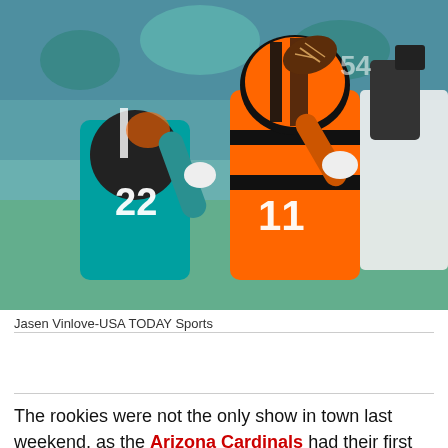[Figure (photo): NFL football game action shot showing a Cincinnati Bengals player wearing number 11 in orange and white uniform reaching for a football, contested by a Miami Dolphins player wearing number 22 in teal uniform. Stadium crowd visible in background.]
Jasen Vinlove-USA TODAY Sports
The rookies were not the only show in town last weekend, as the Arizona Cardinals had their first